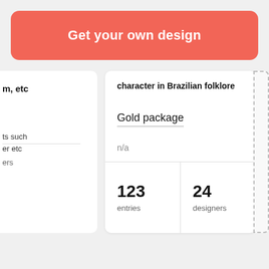Get your own design
character in Brazilian folklore
m, etc
ts such
er etc
ers
Gold package
n/a
123 entries
24 designers